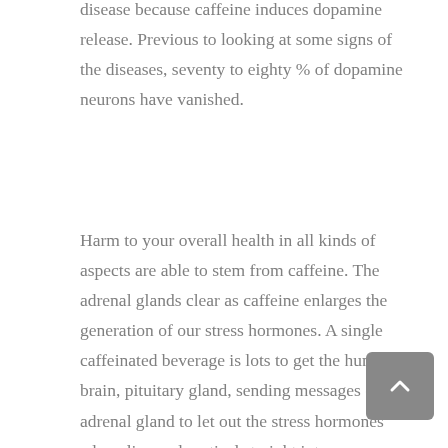disease because caffeine induces dopamine release. Previous to looking at some signs of the diseases, seventy to eighty % of dopamine neurons have vanished.
Harm to your overall health in all kinds of aspects are able to stem from caffeine. The adrenal glands clear as caffeine enlarges the generation of our stress hormones. A single caffeinated beverage is lots to get the human brain, pituitary gland, sending messages on the adrenal gland to let out the stress hormones adrenaline and cortisol straight into our bloodstream.